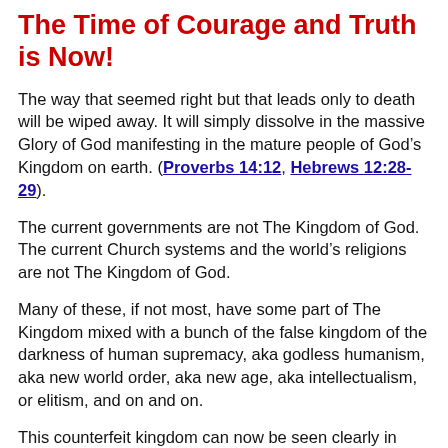The Time of Courage and Truth is Now!
The way that seemed right but that leads only to death will be wiped away.  It will simply dissolve in the massive Glory of God manifesting in the mature people of God’s Kingdom on earth.  (Proverbs 14:12, Hebrews 12:28-29).
The current governments are not The Kingdom of God.  The current Church systems and the world’s religions are not The Kingdom of God.
Many of these, if not most, have some part of The Kingdom mixed with a bunch of the false kingdom of the darkness of human supremacy, aka godless humanism, aka new world order, aka new age, aka intellectualism, or elitism, and on and on.
This counterfeit kingdom can now be seen clearly in philosophies and ideologies in religions, political parties, and